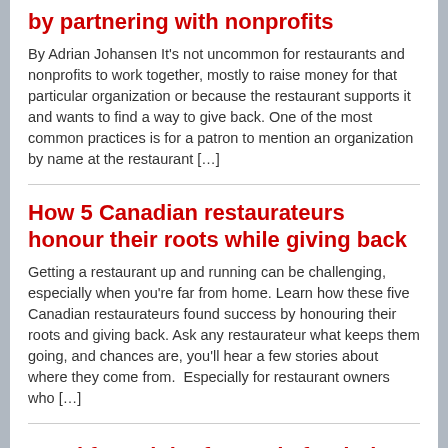by partnering with nonprofits
By Adrian Johansen It's not uncommon for restaurants and nonprofits to work together, mostly to raise money for that particular organization or because the restaurant supports it and wants to find a way to give back. One of the most common practices is for a patron to mention an organization by name at the restaurant […]
How 5 Canadian restaurateurs honour their roots while giving back
Getting a restaurant up and running can be challenging, especially when you're far from home. Learn how these five Canadian restaurateurs found success by honouring their roots and giving back. Ask any restaurateur what keeps them going, and chances are, you'll hear a few stories about where they come from.  Especially for restaurant owners who […]
Breakfast Club of Canada fundraiser